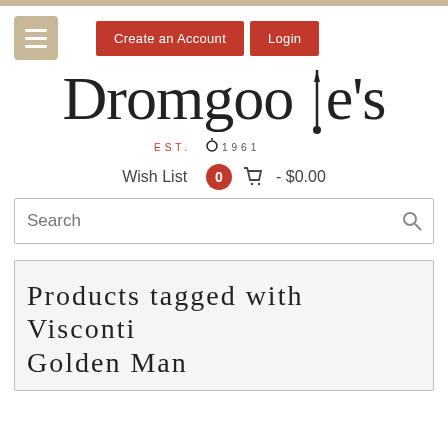Create an Account | Login
[Figure (logo): Dromgoole's logo with EST. 1961 and fountain pen icon]
Wish List  0  - $0.00
Search
Products tagged with Visconti Golden Man